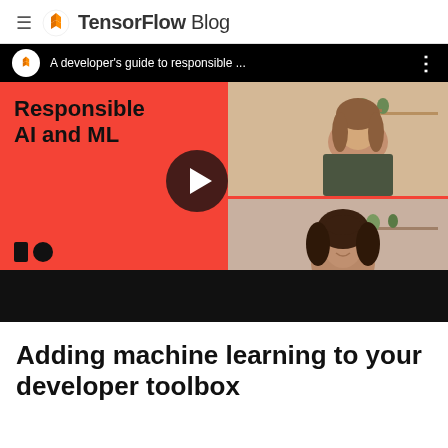TensorFlow Blog
[Figure (screenshot): YouTube video thumbnail for 'A developer's guide to responsible...' showing Responsible AI and ML title on red background with two women presenters and a play button. Google I/O logo visible at bottom left.]
Adding machine learning to your developer toolbox